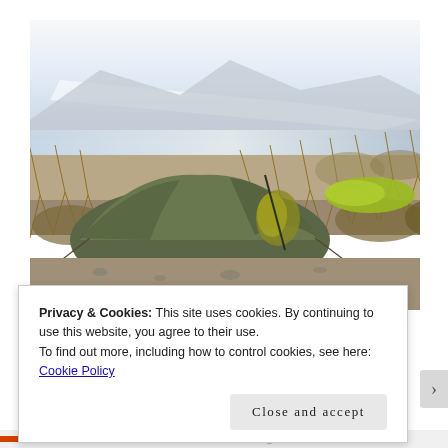[Figure (photo): Outdoor camping photo showing a green dome tent pitched on rocky/sandy ground, surrounded by dry brown scrub brush and bare branches. In the background is a lake or river and mountains with a bright hazy sky.]
Privacy & Cookies: This site uses cookies. By continuing to use this website, you agree to their use.
To find out more, including how to control cookies, see here: Cookie Policy
Close and accept